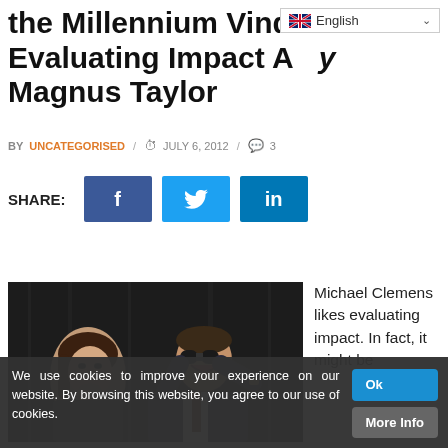the Millennium Vinde... Evaluating Impact A...y Magnus Taylor
BY UNCATEGORISED / JULY 6, 2012 / 3
SHARE:
[Figure (photo): Two people on a dark stage — a woman posing thoughtfully and a man in a suit holding binoculars to his eyes and laughing]
Michael Clemens likes evaluating impact. In fact, it might be
We use cookies to improve your experience on our website. By browsing this website, you agree to our use of cookies.